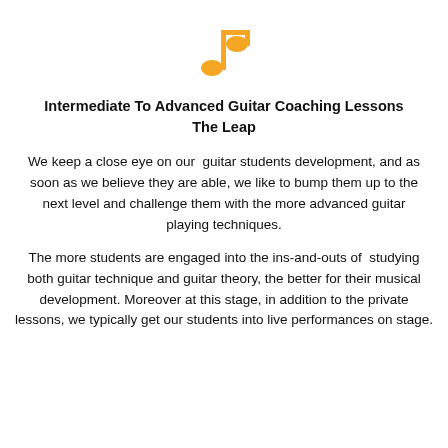[Figure (illustration): Orange musical note icon centered at top of page]
Intermediate To Advanced Guitar Coaching Lessons The Leap
We keep a close eye on our  guitar students development, and as soon as we believe they are able, we like to bump them up to the next level and challenge them with the more advanced guitar playing techniques.
The more students are engaged into the ins-and-outs of  studying both guitar technique and guitar theory, the better for their musical development. Moreover at this stage, in addition to the private lessons, we typically get our students into live performances on stage.